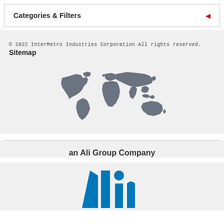Categories & Filters
© 2022 InterMetro Industries Corporation All rights reserved.
Sitemap
[Figure (map): Gray world map silhouette centered on the page]
an Ali Group Company
[Figure (logo): Ali Group blue logo with stylized letters A, l, i]